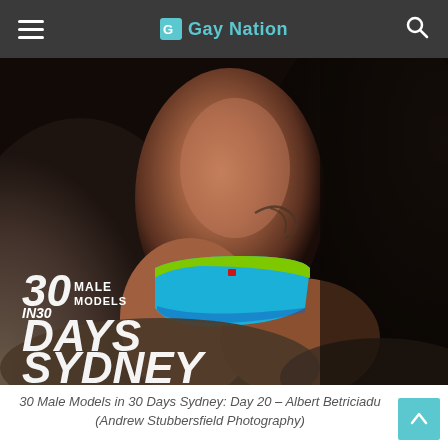Gay Nation
[Figure (photo): A male model in blue and green swimwear posing against rocks, with text overlay reading '30 Male Models in 30 Days Sydney']
30 Male Models in 30 Days Sydney: Day 20 – Albert Betriciadu (Andrew Stubbersfield Photography)